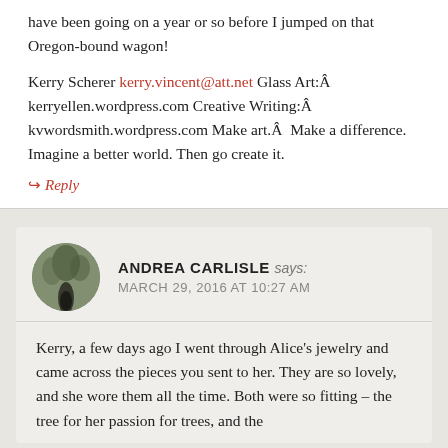have been going on a year or so before I jumped on that Oregon-bound wagon!
Kerry Scherer kerry.vincent@att.net Glass Art:Â kerryellen.wordpress.com Creative Writing:Â kvwordsmith.wordpress.com Make art.Â  Make a difference. Imagine a better world. Then go create it.
↷ Reply
ANDREA CARLISLE says:
MARCH 29, 2016 AT 10:27 AM
Kerry, a few days ago I went through Alice’s jewelry and came across the pieces you sent to her. They are so lovely, and she wore them all the time. Both were so fitting – the tree for her passion for trees, and the